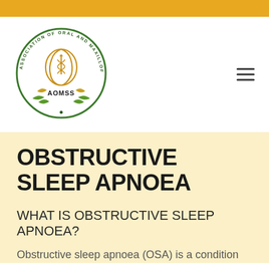[Figure (logo): AOMSS - Association of Oral and Maxillofacial Surgeons Singapore circular logo with head profile and medical symbol]
OBSTRUCTIVE SLEEP APNOEA
WHAT IS OBSTRUCTIVE SLEEP APNOEA?
Obstructive sleep apnoea (OSA) is a condition